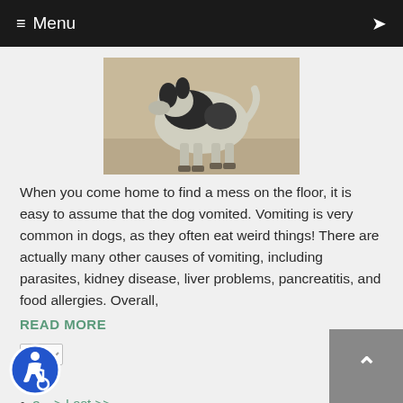≡ Menu
[Figure (photo): A black and white dog standing outdoors on sandy/gravel ground, viewed from the side.]
When you come home to find a mess on the floor, it is easy to assume that the dog vomited. Vomiting is very common in dogs, as they often eat weird things! There are actually many other causes of vomiting, including parasites, kidney disease, liver problems, pancreatitis, and food allergies. Overall,
READ MORE
1
2
3
Last >>